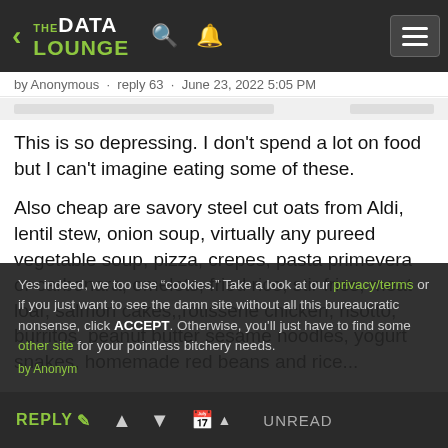THE DATA LOUNGE
by Anonymous · reply 63 · June 23, 2022 5:05 PM
This is so depressing. I don't spend a lot on food but I can't imagine eating some of these.
Also cheap are savory steel cut oats from Aldi, lentil stew, onion soup, virtually any pureed vegetable soup, pizza, crepes, pasta primevera or carbonara, omelets, fried rice, stir fries, meat loaf, salmon cakes,,rotisserie chicken, risotto, burritos, peanut butter sesame noodles, yogurt snakes, homemade red beans and rice...
Yes indeed, we too use "cookies." Take a look at our privacy/terms or if you just want to see the damn site without all this bureaucratic nonsense, click ACCEPT. Otherwise, you'll just have to find some other site for your pointless bitchery needs.
REPLY  ▲  ▼  🗓 ▲  UNREAD